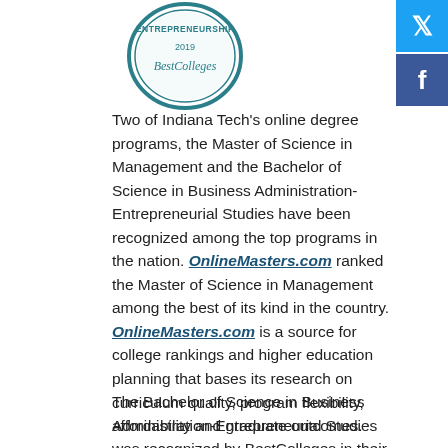[Figure (logo): BestColleges badge for Entrepreneurship 2019, circular badge with teal border]
Two of Indiana Tech’s online degree programs, the Master of Science in Management and the Bachelor of Science in Business Administration-Entrepreneurial Studies have been recognized among the top programs in the nation. OnlineMasters.com ranked the Master of Science in Management among the best of its kind in the country. OnlineMasters.com is a source for college rankings and higher education planning that bases its research on curriculum quality, program flexibility, affordability and graduate outcomes.
The Bachelor of Science in Business Administration-Entrepreneurial Studies was recognized by BestColleges in their annual